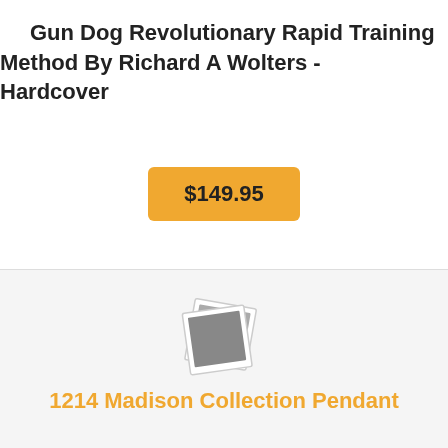Gun Dog Revolutionary Rapid Training Method By Richard A Wolters - Hardcover
$149.95
[Figure (photo): Placeholder image icon showing two overlapping polaroid-style photo frames with a grey square in the center]
1214 Madison Collection Pendant